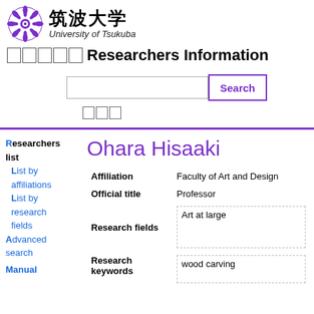[Figure (logo): University of Tsukuba logo: purple chrysanthemum crest with Japanese characters 筑波大学 and 'University of Tsukuba' in italic]
□□□□□ Researchers Information
□□□ (search field with Search button)
Researchers list
List by affiliations
List by research fields
Advanced search
Manual
Ohara Hisaaki
| Field | Value |
| --- | --- |
| Affiliation | Faculty of Art and Design |
| Official title | Professor |
| Research fields | Art at large |
| Research keywords | wood carving |